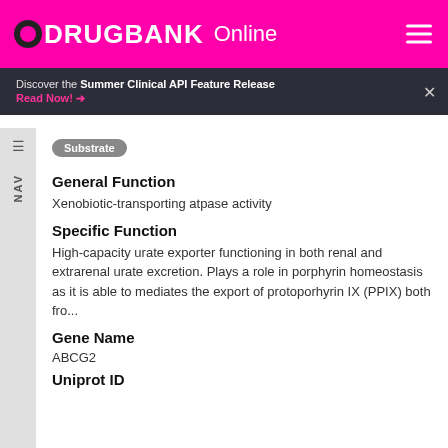DRUGBANK Online
Discover the Summer Clinical API Feature Release
Read Now!
Substrate
General Function
Xenobiotic-transporting atpase activity
Specific Function
High-capacity urate exporter functioning in both renal and extrarenal urate excretion. Plays a role in porphyrin homeostasis as it is able to mediates the export of protoporhyrin IX (PPIX) both fro...
Gene Name
ABCG2
Uniprot ID